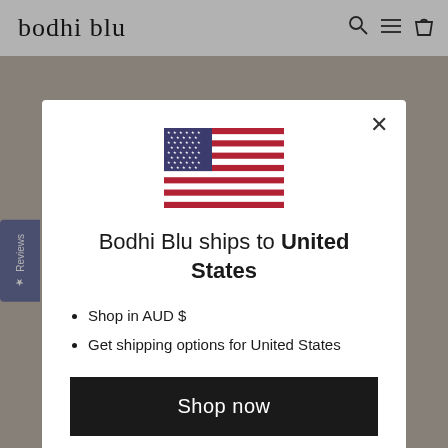bodhi blu
[Figure (screenshot): Website background showing product images and navigation]
★ Reviews
[Figure (illustration): United States flag emoji/icon]
Bodhi Blu ships to United States
Shop in AUD $
Get shipping options for United States
Shop now
Change shipping country